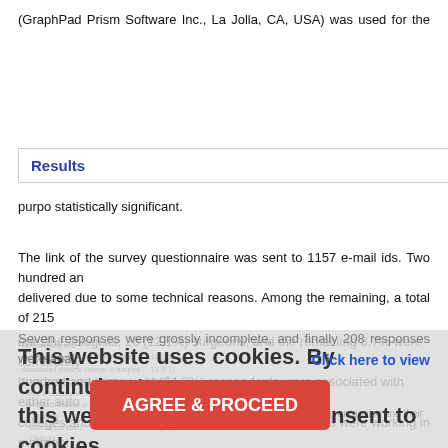(GraphPad Prism Software Inc., La Jolla, CA, USA) was used for the purpose statistically significant.
Results
The link of the survey questionnaire was sent to 1157 e-mail ids. Two hundred and delivered due to some technical reasons. Among the remaining, a total of 215 Seven responses were grossly incomplete, and finally 208 responses were analyzed. anesthesiologists, 26 (12.1%) surgeons, and the remaining 8.7% were community hundred and thirty-eight (64.2%) respondents were associated with either auto colleges and hospitals. Eighty-nine (41.4%) responders were working in metropolitan
Table 1: Specialty and working area-wise and their responses
Click here to view